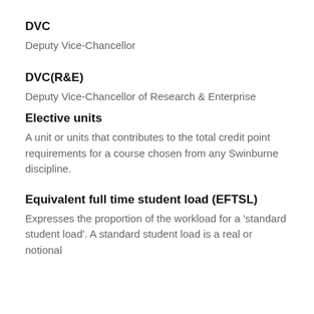DVC
Deputy Vice-Chancellor
DVC(R&E)
Deputy Vice-Chancellor of Research & Enterprise
Elective units
A unit or units that contributes to the total credit point requirements for a course chosen from any Swinburne discipline.
Equivalent full time student load (EFTSL)
Expresses the proportion of the workload for a 'standard student load'. A standard student load is a real or notional